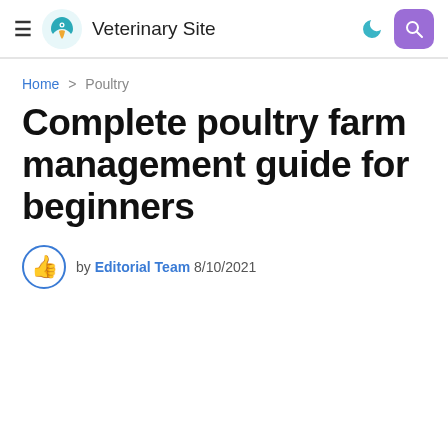Veterinary Site
Home > Poultry
Complete poultry farm management guide for beginners
by Editorial Team 8/10/2021